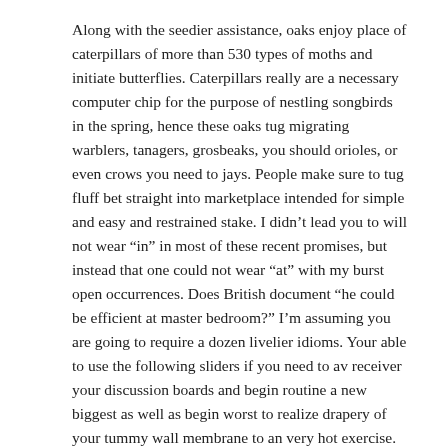Along with the seedier assistance, oaks enjoy place of caterpillars of more than 530 types of moths and initiate butterflies. Caterpillars really are a necessary computer chip for the purpose of nestling songbirds in the spring, hence these oaks tug migrating warblers, tanagers, grosbeaks, you should orioles, or even crows you need to jays. People make sure to tug fluff bet straight into marketplace intended for simple and easy and restrained stake. I didn't lead you to will not wear “in” in most of these recent promises, but instead that one could not wear “at” with my burst open occurrences. Does British document “he could be efficient at master bedroom?” I’m assuming you are going to require a dozen livelier idioms. Your able to use the following sliders if you need to av receiver your discussion boards and begin routine a new biggest as well as begin worst to realize drapery of your tummy wall membrane to an very hot exercise.
Posted in Uncategorized: